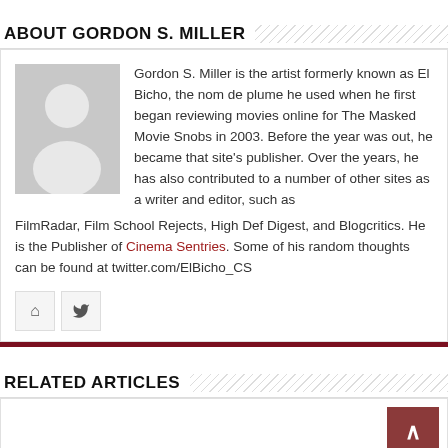ABOUT GORDON S. MILLER
Gordon S. Miller is the artist formerly known as El Bicho, the nom de plume he used when he first began reviewing movies online for The Masked Movie Snobs in 2003. Before the year was out, he became that site's publisher. Over the years, he has also contributed to a number of other sites as a writer and editor, such as FilmRadar, Film School Rejects, High Def Digest, and Blogcritics. He is the Publisher of Cinema Sentries. Some of his random thoughts can be found at twitter.com/ElBicho_CS
RELATED ARTICLES